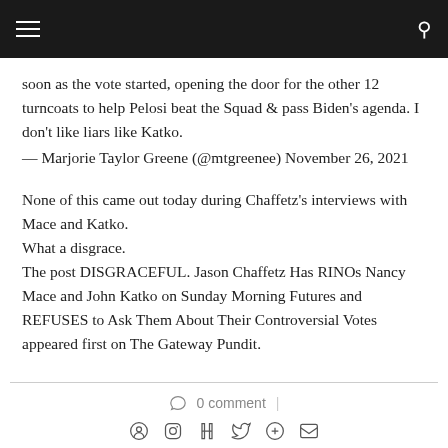Navigation bar with menu and search icons
soon as the vote started, opening the door for the other 12 turncoats to help Pelosi beat the Squad & pass Biden's agenda. I don't like liars like Katko.
— Marjorie Taylor Greene (@mtgreenee) November 26, 2021
None of this came out today during Chaffetz's interviews with Mace and Katko.
What a disgrace.
The post DISGRACEFUL. Jason Chaffetz Has RINOs Nancy Mace and John Katko on Sunday Morning Futures and REFUSES to Ask Them About Their Controversial Votes appeared first on The Gateway Pundit.
0 comment